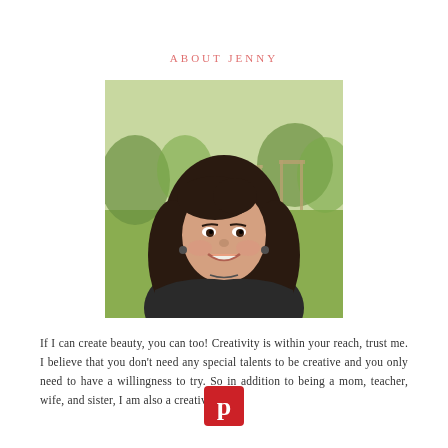ABOUT JENNY
[Figure (photo): Portrait photo of Jenny, a woman with long dark curly hair, smiling, wearing a dark jacket, photographed outdoors in a backyard with green grass and trees in the background.]
If I can create beauty, you can too! Creativity is within your reach, trust me. I believe that you don't need any special talents to be creative and you only need to have a willingness to try. So in addition to being a mom, teacher, wife, and sister, I am also a creative tryer!
[Figure (logo): Pinterest logo - white P letter on a red square background.]